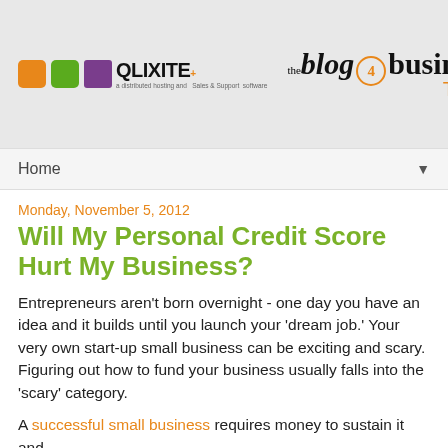[Figure (logo): Qlixite logo with colored icon boxes and 'the blog 4 business Tools!' branding]
Home ▼
Monday, November 5, 2012
Will My Personal Credit Score Hurt My Business?
Entrepreneurs aren't born overnight - one day you have an idea and it builds until you launch your 'dream job.' Your very own start-up small business can be exciting and scary. Figuring out how to fund your business usually falls into the 'scary' category.
A successful small business requires money to sustain it and